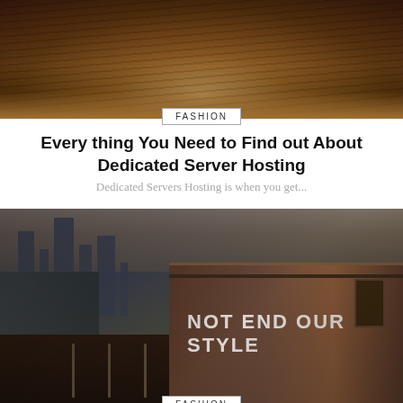[Figure (photo): Dark blurry crowd or texture photo used as hero image for first article]
FASHION
Every thing You Need to Find out About Dedicated Server Hosting
Dedicated Servers Hosting is when you get...
[Figure (photo): Urban train on elevated tracks with city skyline in background, train reads 'NOT END OUR STYLE']
FASHION
Craigslist Promoting and marketing – Specifically